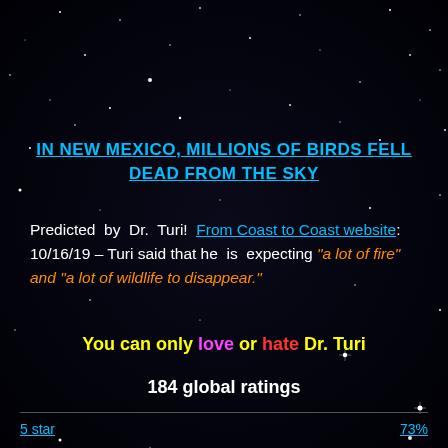IN NEW MEXICO, MILLIONS OF BIRDS FELL DEAD FROM THE SKY
Predicted by Dr. Turi! From Coast to Coast website: 10/16/19 – Turi said that he is expecting "a lot of fire" and "a lot of wildlife to disappear."
You can only love or hate Dr. Turi
184 global ratings
5 star   73%